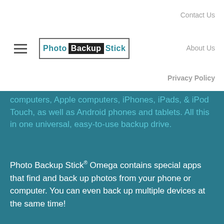Contact Us
[Figure (logo): Photo Backup Stick logo with hamburger menu icon]
About Us
Privacy Policy
computers, Apple computers, iPhones, iPads, & iPod Touch, as well as Android phones and tablets. All this in one universal, easy-to-use backup drive.
Photo Backup Stick® Omega contains special apps that find and back up photos from your phone or computer. You can even back up multiple devices at the same time!